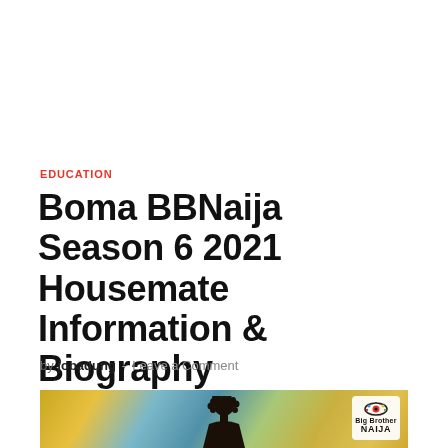EDUCATION
Boma BBNaija Season 6 2021 Housemate Information & Biography
by jobadung  -  Leave a Comment
[Figure (photo): A colorful background image showing a person (silhouette visible at bottom center) with a BBNaija logo badge in the top right corner of the photo.]